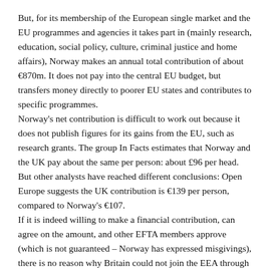But, for its membership of the European single market and the EU programmes and agencies it takes part in (mainly research, education, social policy, culture, criminal justice and home affairs), Norway makes an annual total contribution of about €870m. It does not pay into the central EU budget, but transfers money directly to poorer EU states and contributes to specific programmes.
Norway's net contribution is difficult to work out because it does not publish figures for its gains from the EU, such as research grants. The group In Facts estimates that Norway and the UK pay about the same per person: about £96 per head. But other analysts have reached different conclusions: Open Europe suggests the UK contribution is €139 per person, compared to Norway's €107.
If it is indeed willing to make a financial contribution, can agree on the amount, and other EFTA members approve (which is not guaranteed – Norway has expressed misgivings), there is no reason why Britain could not join the EEA through EFTA to obtain preferential single market access.
Britain also has a good track record on EU immigration, which...